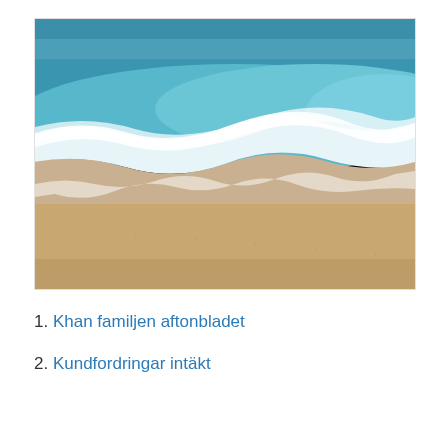[Figure (photo): Aerial view of ocean waves meeting a sandy beach. Turquoise and white foamy water meets golden sand, shot from above.]
1. Khan familjen aftonbladet
2. Kundfordringar intäkt